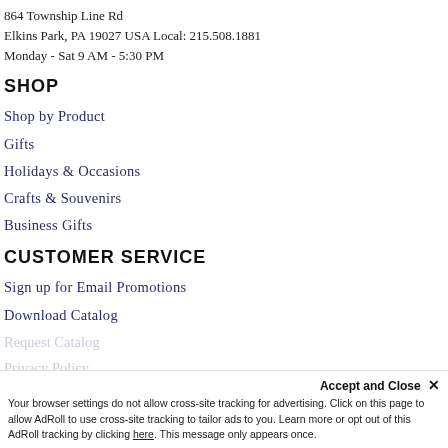864 Township Line Rd
Elkins Park, PA 19027 USA Local: 215.508.1881
Monday - Sat 9 AM - 5:30 PM
SHOP
Shop by Product
Gifts
Holidays & Occasions
Crafts & Souvenirs
Business Gifts
CUSTOMER SERVICE
Sign up for Email Promotions
Download Catalog
Request Catalog
Privacy Policy
Accept and Close ×
Your browser settings do not allow cross-site tracking for advertising. Click on this page to allow AdRoll to use cross-site tracking to tailor ads to you. Learn more or opt out of this AdRoll tracking by clicking here. This message only appears once.